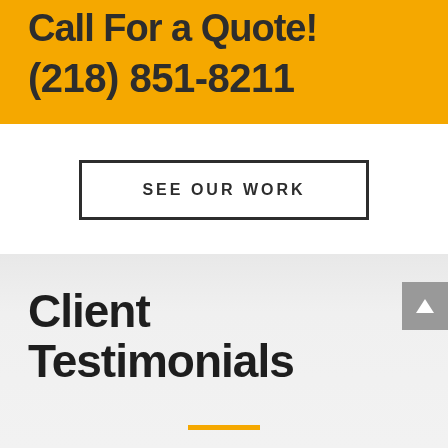Call For a Quote!
(218) 851-8211
SEE OUR WORK
Client Testimonials